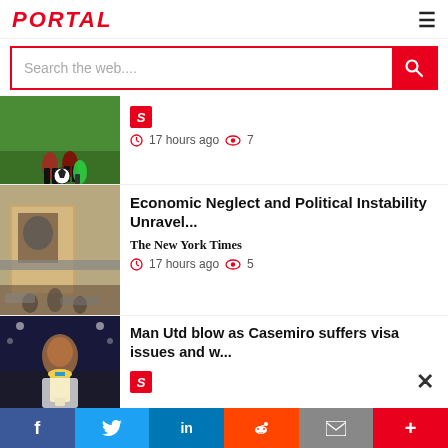PORTAL
Search the web....
[Figure (photo): Soccer/football players feet and ball on green pitch]
S  17 hours ago  7
[Figure (photo): Political poster on building, people in foreground, war-torn area]
Economic Neglect and Political Instability Unravel...
The New York Times
17 hours ago  5
[Figure (photo): Casemiro holding trophy at night stadium]
Man Utd blow as Casemiro suffers visa issues and w...
S
Advertisement bar with rainbow colors
f  Twitter  in  Reddit  Mail  +